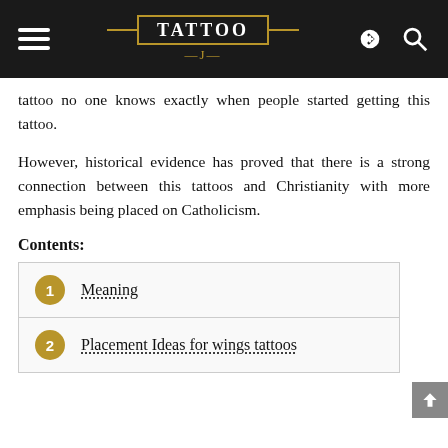TATTOO J
tattoo no one knows exactly when people started getting this tattoo.
However, historical evidence has proved that there is a strong connection between this tattoos and Christianity with more emphasis being placed on Catholicism.
Contents:
1 Meaning
2 Placement Ideas for wings tattoos